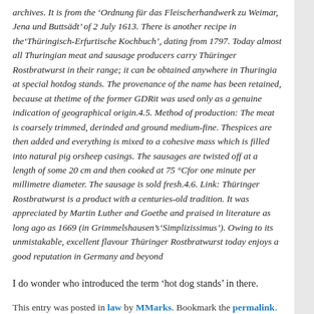archives. It is from the ‘Ordnung für das Fleischerhandwerk zu Weimar, Jena und Buttsädt’ of 2 July 1613. There is another recipe in the‘Thüringisch-Erfurtische Kochbuch’, dating from 1797. Today almost all Thuringian meat and sausage producers carry Thüringer Rostbratwurst in their range; it can be obtained anywhere in Thuringia at special hotdog stands. The provenance of the name has been retained, because at thetime of the former GDRit was used only as a genuine indication of geographical origin.4.5. Method of production: The meat is coarsely trimmed, derinded and ground medium-fine. Thespices are then added and everything is mixed to a cohesive mass which is filled into natural pig orsheep casings. The sausages are twisted off at a length of some 20 cm and then cooked at 75 °Cfor one minute per millimetre diameter. The sausage is sold fresh.4.6. Link: Thüringer Rostbratwurst is a product with a centuries-old tradition. It was appreciated by Martin Luther and Goethe and praised in literature as long ago as 1669 (in Grimmelshausen’s‘Simplizissimus’). Owing to its unmistakable, excellent flavour Thüringer Rostbratwurst today enjoys a good reputation in Germany and beyond
I do wonder who introduced the term ‘hot dog stands’ in there.
This entry was posted in law by MMarks. Bookmark the permalink.